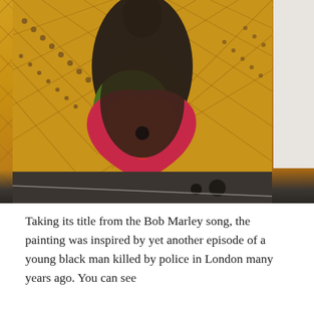[Figure (photo): A large mixed-media painting or textile artwork displayed in a gallery setting, depicting a dark-silhouetted figure with a yellow/golden diamond-patterned background and a vibrant pink and red chest/torso area. Dark spherical objects are attached at the base. The work is photographed against a white gallery wall with a dark floor.]
Taking its title from the Bob Marley song, the painting was inspired by yet another episode of a young black man killed by police in London many years ago. You can see